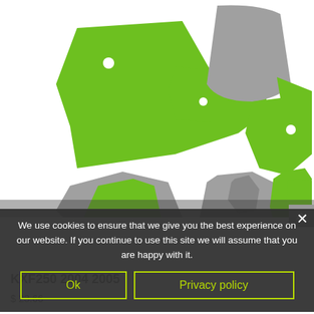KX 250F 04-05 cut file
[Figure (illustration): KX 250F 04-05 dirt bike graphics cut file template showing green and grey silhouette panels — fenders, side panels, number plates — laid out flat on white background.]
We use cookies to ensure that we give you the best experience on our website. If you continue to use this site we will assume that you are happy with it.
Ok
Privacy policy
KXF250 2004 2005
$ 23.66